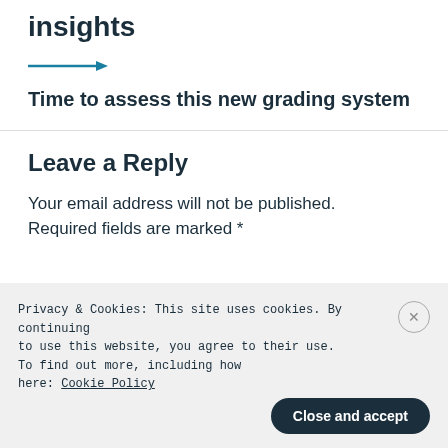insights
Time to assess this new grading system
Leave a Reply
Your email address will not be published. Required fields are marked *
Privacy & Cookies: This site uses cookies. By continuing to use this website, you agree to their use. To find out more, including how to control cookies, see here: Cookie Policy